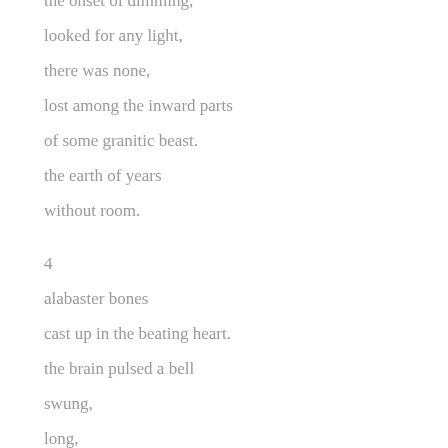the onset of dimming,
looked for any light,
there was none,
lost among the inward parts
of some granitic beast.
the earth of years
without room.
4
alabaster bones
cast up in the beating heart.
the brain pulsed a bell
swung,
long,